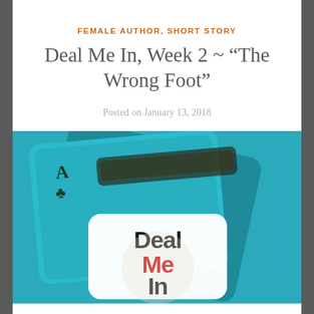FEMALE AUTHOR, SHORT STORY
Deal Me In, Week 2 ~ “The Wrong Foot”
Posted on January 13, 2018
[Figure (photo): A teal-tinted playing card (Ace of Clubs) with a white rounded rectangle overlay showing the text 'Deal Me In' in bold black and red lettering, serving as the logo/cover image for the Deal Me In reading challenge.]